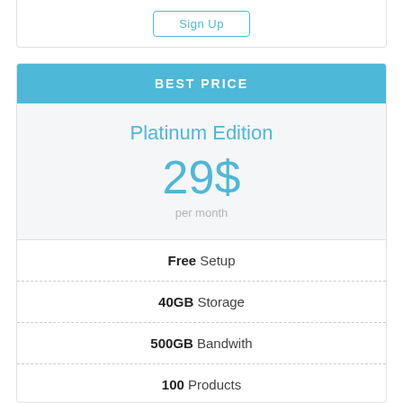BEST PRICE
Platinum Edition
29$ per month
Free Setup
40GB Storage
500GB Bandwith
100 Products
Complex Stats
Complex Customization